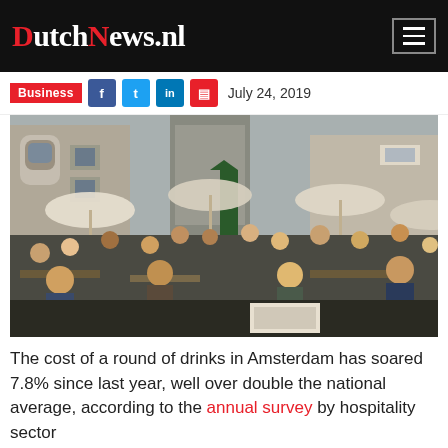DutchNews.nl
Business  July 24, 2019
[Figure (photo): Outdoor cafe terrace in Amsterdam crowded with people dining and drinking, with umbrellas and historic buildings in the background]
The cost of a round of drinks in Amsterdam has soared 7.8% since last year, well over double the national average, according to the annual survey by hospitality sector